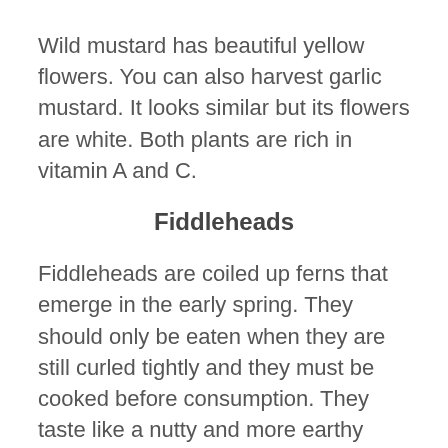Wild mustard has beautiful yellow flowers. You can also harvest garlic mustard. It looks similar but its flowers are white. Both plants are rich in vitamin A and C.
Fiddleheads
Fiddleheads are coiled up ferns that emerge in the early spring. They should only be eaten when they are still curled tightly and they must be cooked before consumption. They taste like a nutty and more earthy asparagus. In Nova Scotia, fiddleheads